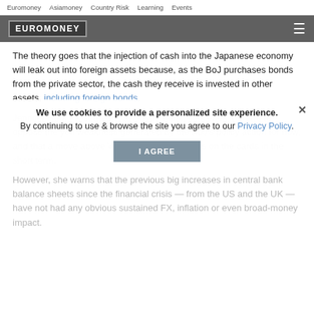Euromoney   Asiamoney   Country Risk   Learning   Events
[Figure (logo): Euromoney logo in header bar with hamburger menu icon]
The theory goes that the injection of cash into the Japanese economy will leak out into foreign assets because, as the BoJ purchases bonds from the private sector, the cash they receive is invested in other assets, including foreign bonds.
Jennifer Hau, FX strategist at Lloyds Bank, concedes it's hard to oppose the yen weakness generated by the BoJ's policy action for now, and that a move above ¥100 to USD/JPY looms on the cards in the short term.
We use cookies to provide a personalized site experience.
By continuing to use & browse the site you agree to our Privacy Policy.
However, she warns that the previous big increases in central bank balance sheets since the financial crisis — from the US and the UK — have not had any obvious sustained FX, inflation or even broad-money impact.